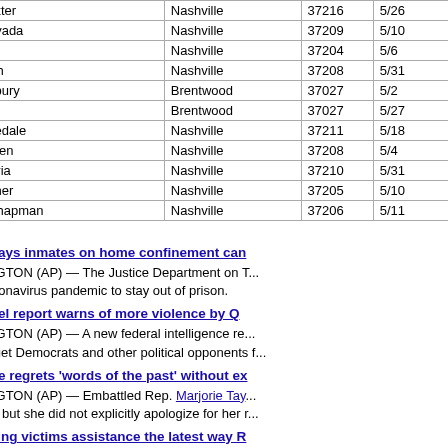| Address | City | Zip | Date | ... |
| --- | --- | --- | --- | --- |
| 3734 Baxter | Nashville | 37216 | 5/26 | ... |
| 4507 Nevada | Nashville | 37209 | 5/10 | ... |
| 947 Gale | Nashville | 37204 | 5/6 | ... |
| 2122 24th | Nashville | 37208 | 5/31 | ... |
| 601 Banbury | Brentwood | 37027 | 5/2 | ... |
| 5591 Hill | Brentwood | 37027 | 5/27 | ... |
| 554 Rosedale | Nashville | 37211 | 5/18 | ... |
| 921 Warren | Nashville | 37208 | 5/4 | ... |
| 117 Valeria | Nashville | 37210 | 5/31 | ... |
| 148 Kenner | Nashville | 37205 | 5/10 | ... |
| 2432B Chapman | Nashville | 37206 | 5/11 | ... |
...
2. DOJ says inmates on home confinement can...
WASHINGTON (AP) — The Justice Department on T... of the coronavirus pandemic to stay out of prison.
3. US intel report warns of more violence by Q...
WASHINGTON (AP) — A new federal intelligence re... could target Democrats and other political opponents f...
4. Greene regrets 'words of the past' without ex...
WASHINGTON (AP) — Embattled Rep. Marjorie Tay... the past,' but she did not explicitly apologize for her r...
5. Bombing victims assistance the latest way R...
Each month the Greater Nashville Realtors provide the... However, the organization does much more than coun...
6. A look at the 29 people Trump pardoned or p...
WASHINGTON (AP) — For a second night in a row...